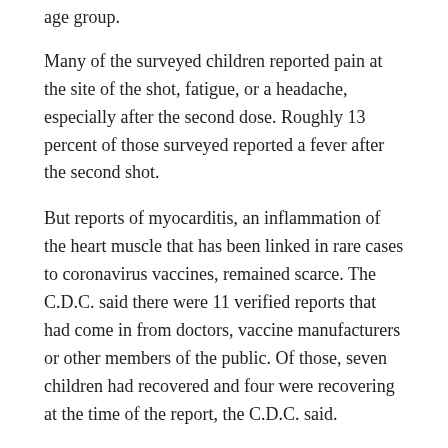age group.
Many of the surveyed children reported pain at the site of the shot, fatigue, or a headache, especially after the second dose. Roughly 13 percent of those surveyed reported a fever after the second shot.
But reports of myocarditis, an inflammation of the heart muscle that has been linked in rare cases to coronavirus vaccines, remained scarce. The C.D.C. said there were 11 verified reports that had come in from doctors, vaccine manufacturers or other members of the public. Of those, seven children had recovered and four were recovering at the time of the report, the C.D.C. said.
The C.D.C. said that reporting rates for vaccine-related myocarditis appeared highest among boys and men aged 12 to 29.
A number of parents or doctors also reported instances of 5- to 11-year-olds receiving the incorrect, larger vaccine dose meant for older children and adults. The C.D.C. said that those problems